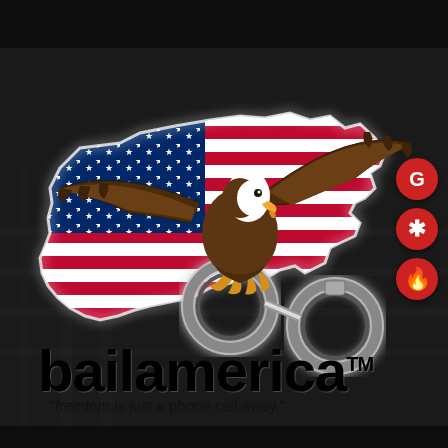[Figure (logo): BailAmerica logo featuring a bald eagle with wings spread landing on handcuffs, overlaid on a USA map shape filled with American flag (stars and stripes). The eagle has brown feathers, white head, yellow beak and talons. The map/flag shape is in red, white, and blue. Below the eagle/flag graphic is the company name 'bailamerica' in large bold black text with TM mark, and the tagline 'freedom is just a phone call away.' The entire logo is set against a dark/black background. On the right side are three circular red buttons: Google (G), Yelp (asterisk/flower icon), and a location pin icon.]
bailamerica™
"freedom is just a phone call away."